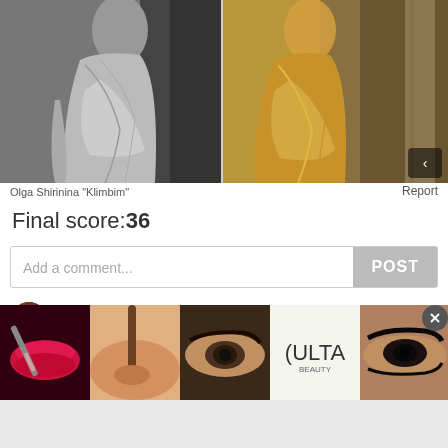[Figure (photo): Two side-by-side photos of a woman in a long draped gown. Left photo is black and white; right photo is a colorized/gold version of the same or similar pose.]
Olga Shirinina "Klimbim"
Report
Final score:36
Add a comment...
POST
Strawberry Hellcat  2 years ago
I wish she'd used a photo with the "Gilda" gown, but this is gorgeous too!
[Figure (advertisement): ULTA Beauty advertisement banner with makeup photos and SHOP NOW call to action]